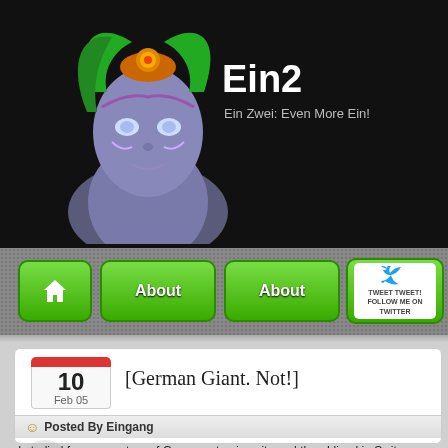[Figure (screenshot): Blog website screenshot showing header with game character avatar, site title 'Ein2', subtitle 'Ein Zwei: Even More Ein!', navigation buttons (Home, About, About, Twitter), a blog post dated Feb 10 2005 titled '[German Giant. Not!]', posted by Eingang, with body text about studying German at university.]
Ein2
Ein Zwei: Even More Ein!
[German Giant. Not!]
Posted By Eingang
I studied four semesters of German at university and then I lived in Switzerland, because I was too shy to speak any German at all while living in Switzerland, because I was too shy to sp... once and people always wanted to practice their English on me. I never... of the language, though. To facilitate being successful at improving and r... versions of beginning/intermediate German using the Rosetta Stone. T... target language, using audio, video, and text. It's supposed to simulate th... actually quite like it, even though it's a little on the expensive side.